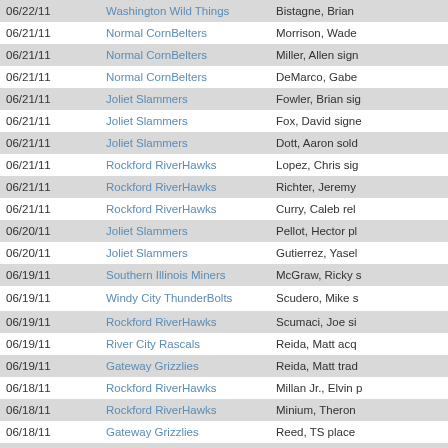| Date | Team | Transaction |
| --- | --- | --- |
| 06/22/11 | Washington Wild Things | Bistagne, Brian |
| 06/21/11 | Normal CornBelters | Morrison, Wade |
| 06/21/11 | Normal CornBelters | Miller, Allen sign |
| 06/21/11 | Normal CornBelters | DeMarco, Gabe |
| 06/21/11 | Joliet Slammers | Fowler, Brian sig |
| 06/21/11 | Joliet Slammers | Fox, David signe |
| 06/21/11 | Joliet Slammers | Dott, Aaron sold |
| 06/21/11 | Rockford RiverHawks | Lopez, Chris sig |
| 06/21/11 | Rockford RiverHawks | Richter, Jeremy |
| 06/21/11 | Rockford RiverHawks | Curry, Caleb rel |
| 06/20/11 | Joliet Slammers | Pellot, Hector pl |
| 06/20/11 | Joliet Slammers | Gutierrez, Yasel |
| 06/19/11 | Southern Illinois Miners | McGraw, Ricky s |
| 06/19/11 | Windy City ThunderBolts | Scudero, Mike s |
| 06/19/11 | Rockford RiverHawks | Scumaci, Joe si |
| 06/19/11 | River City Rascals | Reida, Matt acq |
| 06/19/11 | Gateway Grizzlies | Reida, Matt trad |
| 06/18/11 | Rockford RiverHawks | Millan Jr., Elvin p |
| 06/18/11 | Rockford RiverHawks | Minium, Theron |
| 06/18/11 | Gateway Grizzlies | Reed, TS place |
| 06/18/11 | Gateway Grizzlies | Khoury, Ryan sc |
| 06/18/11 | Gateway Grizzlies | Button, Evan sig |
| 06/18/11 | Washington Wild Things | Allaire, Sean re |